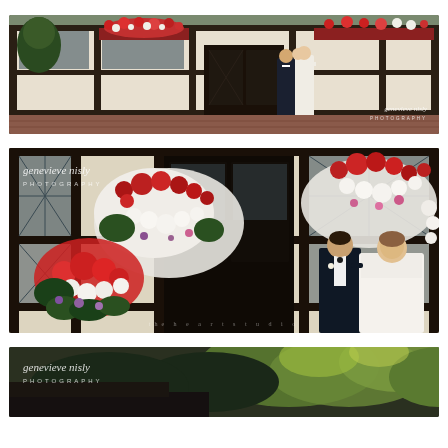[Figure (photo): Wedding couple kissing in front of a Tudor-style black and white timber-framed building with flower boxes. Genevieve Nisly Photography watermark in bottom right corner.]
[Figure (photo): Close-up of Tudor-style building facade with large hanging flower baskets of red and white flowers. Bride and groom standing together on the right side. Genevieve Nisly Photography watermark in top left.]
[Figure (photo): Partial view of outdoor scene with trees and greenery. Genevieve Nisly Photography watermark in top left corner.]